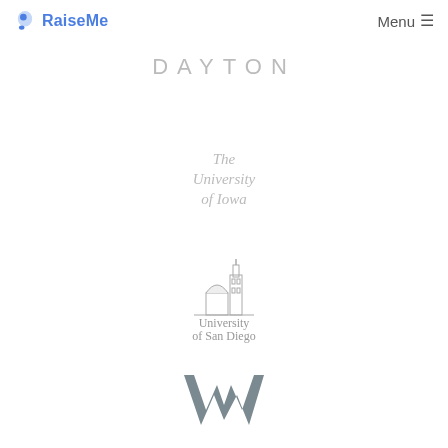RaiseMe | Menu
[Figure (logo): University of Dayton logo — DAYTON in grey spaced caps]
[Figure (logo): The University of Iowa logo in grey serif italic text]
[Figure (logo): University of San Diego logo with campus building illustration]
[Figure (logo): West Virginia University flying WV logo in grey]